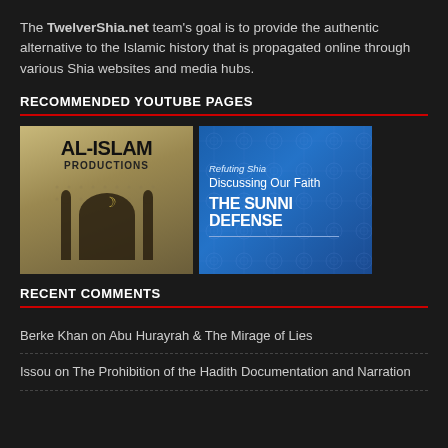The TwelverShia.net team's goal is to provide the authentic alternative to the Islamic history that is propagated online through various Shia websites and media hubs.
RECOMMENDED YOUTUBE PAGES
[Figure (illustration): Two YouTube channel thumbnails side by side: 'AL-ISLAM PRODUCTIONS' with mosque silhouette on tan/gold background, and 'Refuting Shia Discussing Our Faith THE SUNNI DEFENSE' on blue patterned background.]
RECENT COMMENTS
Berke Khan on Abu Hurayrah & The Mirage of Lies
Issou on The Prohibition of the Hadith Documentation and Narration